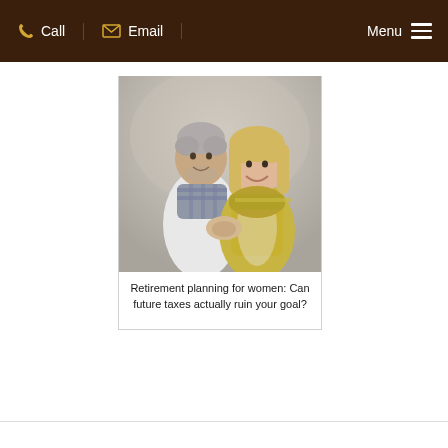Call  Email  Menu
[Figure (photo): A smiling middle-aged couple wearing scarves, close together outdoors]
Retirement planning for women: Can future taxes actually ruin your goal?